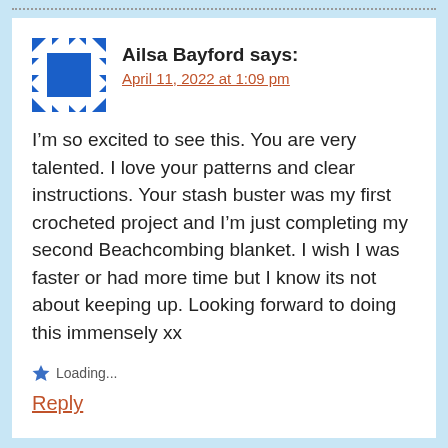Ailsa Bayford says:
April 11, 2022 at 1:09 pm
I’m so excited to see this. You are very talented. I love your patterns and clear instructions. Your stash buster was my first crocheted project and I’m just completing my second Beachcombing blanket. I wish I was faster or had more time but I know its not about keeping up. Looking forward to doing this immensely xx
Loading...
Reply